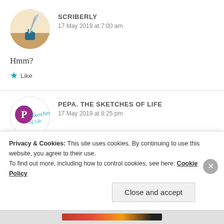[Figure (photo): Circular avatar image of Scriberly showing a quill pen and ink bottle]
SCRIBERLY
17 May 2019 at 7:00 am
Hmm?
Like
[Figure (logo): Circular logo/avatar for Pepa. The Sketches of Life with stylized script signature]
PEPA. THE SKETCHES OF LIFE
17 May 2019 at 8:25 pm
Privacy & Cookies: This site uses cookies. By continuing to use this website, you agree to their use.
To find out more, including how to control cookies, see here: Cookie Policy
Close and accept